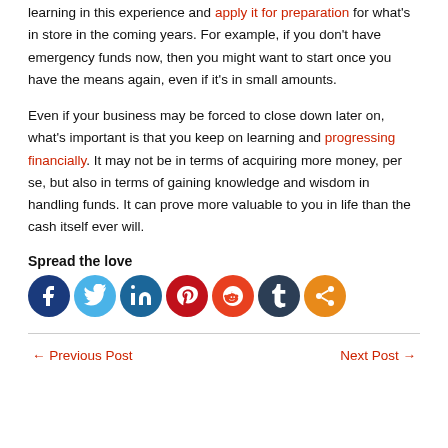learning in this experience and apply it for preparation for what's in store in the coming years. For example, if you don't have emergency funds now, then you might want to start once you have the means again, even if it's in small amounts.
Even if your business may be forced to close down later on, what's important is that you keep on learning and progressing financially. It may not be in terms of acquiring more money, per se, but also in terms of gaining knowledge and wisdom in handling funds. It can prove more valuable to you in life than the cash itself ever will.
Spread the love
[Figure (infographic): Row of social media share icons: Facebook (dark blue), Twitter (light blue), LinkedIn (blue), Pinterest (red), Reddit (orange-red), Tumblr (dark navy), Share (orange)]
← Previous Post
Next Post →